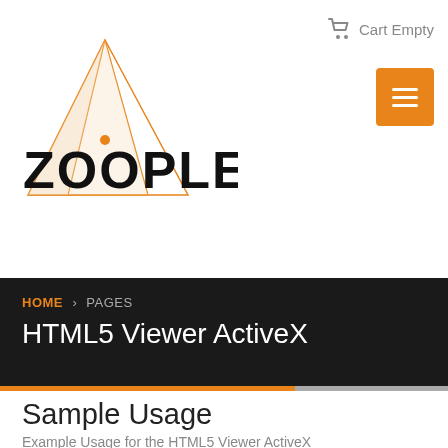[Figure (logo): Zoople logo with geometric pyramid/diamond shape in orange and white lines, with the text ZOOPLE in large black letters]
Cart Empty
[Figure (other): Orange hamburger menu button with three white horizontal lines]
HOME > PAGES
HTML5 Viewer ActiveX
Sample Usage
Example Usage for the HTML5 Viewer ActiveX
Microsoft Access
HTML5 Vi...